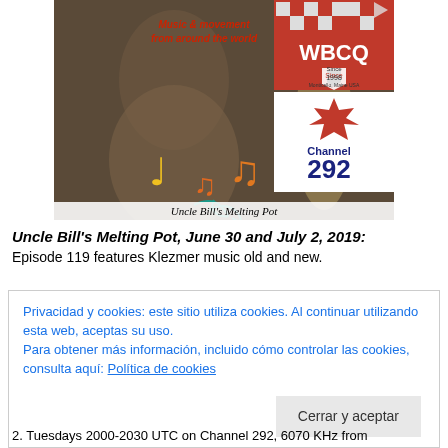[Figure (illustration): Uncle Bill's Melting Pot album art showing a figure playing an instrument with musical notes, WBCQ radio logo (Since 1998, Monticello Maine USA), and Channel 292 logo with red maple leaf. Text overlay reads 'Music & movement from around the world'. Caption bar reads 'Uncle Bill's Melting Pot'.]
Uncle Bill's Melting Pot, June 30 and July 2, 2019:
Episode 119 features Klezmer music old and new.
Privacidad y cookies: este sitio utiliza cookies. Al continuar utilizando esta web, aceptas su uso.
Para obtener más información, incluido cómo controlar las cookies, consulta aquí: Política de cookies
2. Tuesdays 2000-2030 UTC on Channel 292, 6070 KHz from